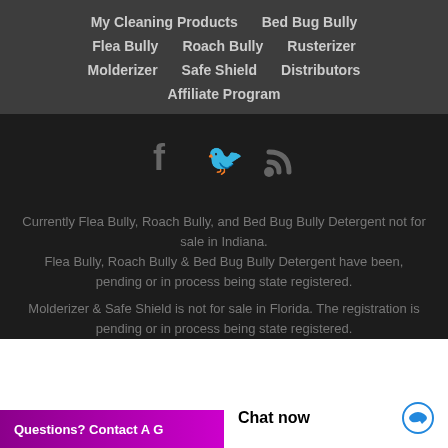My Cleaning Products  Bed Bug Bully  Flea Bully  Roach Bully  Rusterizer  Molderizer  Safe Shield  Distributors  Affiliate Program
[Figure (infographic): Social media icons: Facebook (f), Twitter (bird), RSS (signal/wifi icon)]
Currently Flea Bully, Roach Bully, and Bed Bug Bully Detergent not for sale in Indiana. Flea Bully, Roach Bully & Bed Bug Bully Detergent have been, pending or in process being state registered. Molderizer & Safe Shield is not for sale in Florida. The registration is pending or in process being state registered.
Questions? Contact A G
Chat now